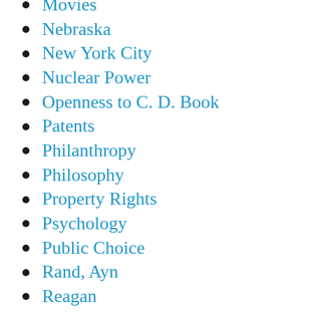Movies
Nebraska
New York City
Nuclear Power
Openness to C. D. Book
Patents
Philanthropy
Philosophy
Property Rights
Psychology
Public Choice
Rand, Ayn
Reagan
Regulations
Religion
Rogge, Ben
Russia